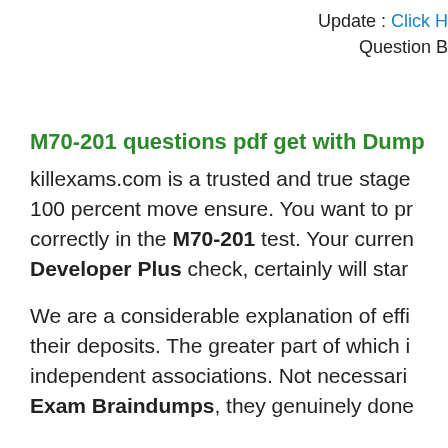Update : Click H
Question B
M70-201 questions pdf get with Dumps
killexams.com is a trusted and true stage 100 percent move ensure. You want to practice correctly in the M70-201 test. Your current Developer Plus check, certainly will star
We are a considerable explanation of effi their deposits. The greater part of which i independent associations. Not necessari Exam Braindumps, they genuinely done